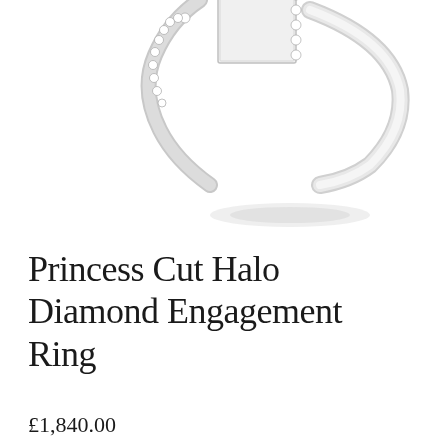[Figure (photo): Close-up photograph of a princess cut halo diamond engagement ring in white gold/platinum, showing the square-shaped center stone surrounded by a halo of small round diamonds, with diamond-set shoulders on the band. The ring is photographed from above at a slight angle against a white background.]
Princess Cut Halo Diamond Engagement Ring
£1,840.00